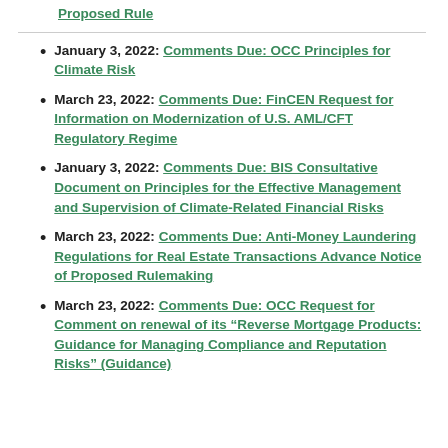Proposed Rule
January 3, 2022: Comments Due: OCC Principles for Climate Risk
March 23, 2022: Comments Due: FinCEN Request for Information on Modernization of U.S. AML/CFT Regulatory Regime
January 3, 2022: Comments Due: BIS Consultative Document on Principles for the Effective Management and Supervision of Climate-Related Financial Risks
March 23, 2022: Comments Due: Anti-Money Laundering Regulations for Real Estate Transactions Advance Notice of Proposed Rulemaking
March 23, 2022: Comments Due: OCC Request for Comment on renewal of its “Reverse Mortgage Products: Guidance for Managing Compliance and Reputation Risks” (Guidance)